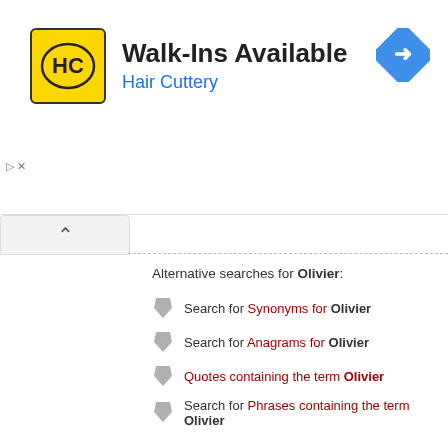[Figure (logo): Hair Cuttery advertisement banner with HC logo, Walk-Ins Available text, and navigation icon]
Alternative searches for Olivier:
Search for Synonyms for Olivier
Search for Anagrams for Olivier
Quotes containing the term Olivier
Search for Phrases containing the term Olivier
Search for Poems containing the term Olivier
Search for Scripts containing the term Olivier
Search for Abbreviations containing the term Olivier